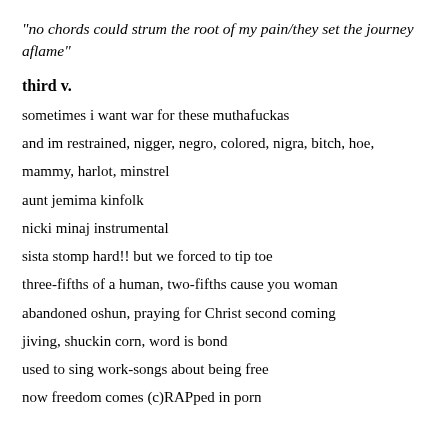“no chords could strum the root of my pain/they set the journey aflame”
third v.
sometimes i want war for these muthafuckas
and im restrained, nigger, negro, colored, nigra, bitch, hoe,
mammy, harlot, minstrel
aunt jemima kinfolk
nicki minaj instrumental
sista stomp hard!! but we forced to tip toe
three-fifths of a human, two-fifths cause you woman
abandoned oshun, praying for Christ second coming
jiving, shuckin corn, word is bond
used to sing work-songs about being free
now freedom comes (c)RAPped in porn